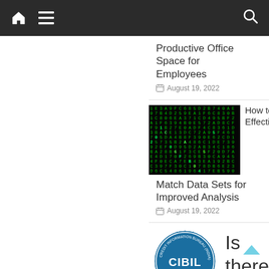Navigation bar with home, menu, and search icons
Productive Office Space for Employees
August 19, 2022
[Figure (photo): Matrix-style green falling code on black background]
How to Effectively Match Data Sets for Improved Analysis
August 19, 2022
[Figure (logo): CIBIL - Credit Information Bureau (India) Limited circular blue badge logo]
Is there a difference between a